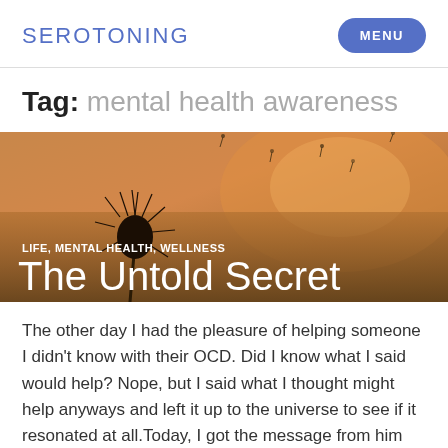SEROTONING | MENU
Tag: mental health awareness
[Figure (photo): A dandelion silhouette against a warm orange/golden sunset sky, with seeds floating in the air. Overlaid text shows categories 'LIFE, MENTAL HEALTH, WELLNESS' and post title 'The Untold Secret']
The other day I had the pleasure of helping someone I didn't know with their OCD. Did I know what I said would help? Nope, but I said what I thought might help anyways and left it up to the universe to see if it resonated at all.Today, I got the message from him that… Continue reading →